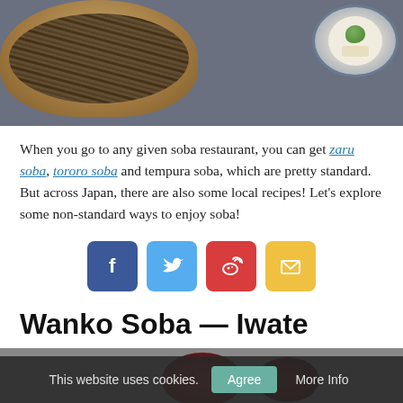[Figure (photo): Photo of soba noodles in a bamboo basket/tray on a dark surface, with a blue ceramic bowl containing wasabi and ginger condiments on the right side.]
When you go to any given soba restaurant, you can get zaru soba, tororo soba and tempura soba, which are pretty standard. But across Japan, there are also some local recipes! Let's explore some non-standard ways to enjoy soba!
[Figure (infographic): Row of four social share buttons: Facebook (blue, f icon), Twitter (light blue, bird icon), Weibo (red, flame/wave icon), Email (yellow, envelope icon).]
Wanko Soba — Iwate
[Figure (photo): Partial photo showing dark red lacquer bowl(s) on a grey background, partially obscured by the cookie consent bar.]